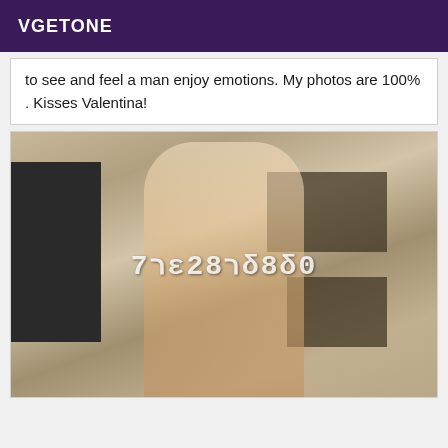VGETONE
to see and feel a man enjoy emotions. My photos are 100% . Kisses Valentina!
[Figure (photo): Photo of a blonde woman in lingerie standing in a room with dark shelving units. A mirrored phone number '0688237ז' is overlaid on the image.]